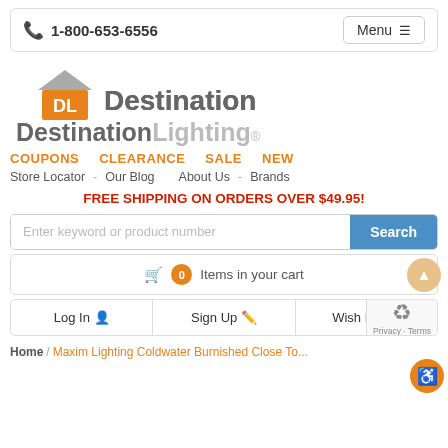📞 1-800-653-6556   Menu
[Figure (logo): Destination Lighting logo with orange DL house icon]
COUPONS   CLEARANCE   SALE   NEW
Store Locator  -  Our Blog  About Us  -  Brands
FREE SHIPPING ON ORDERS OVER $49.95!
Enter keyword or product number  Search
🛒 0 Items in your cart
Log In  Sign Up  Wish List
Home / Maxim Lighting Coldwater Burnished Close To...